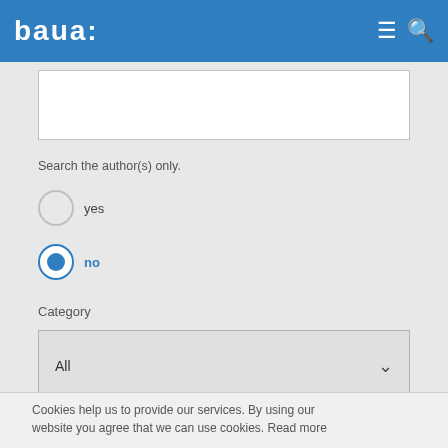baua:
Search the author(s) only.
yes
no
Category
All
from publication year
Cookies help us to provide our services. By using our website you agree that we can use cookies. Read more